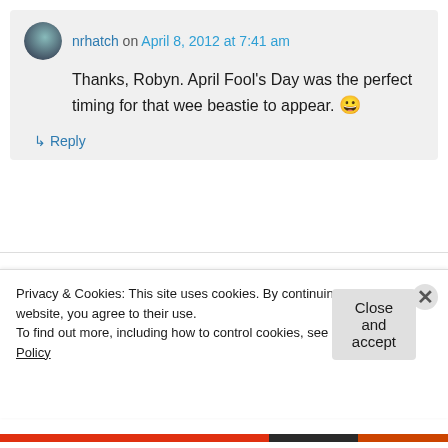nrhatch on April 8, 2012 at 7:41 am
Thanks, Robyn. April Fool’s Day was the perfect timing for that wee beastie to appear. 😀
↳ Reply
eof737 on April 23, 2012 at 12:04 am
Oh boy! What a gag! Hope you all figued it was
Privacy & Cookies: This site uses cookies. By continuing to use this website, you agree to their use.
To find out more, including how to control cookies, see here: Cookie Policy
Close and accept